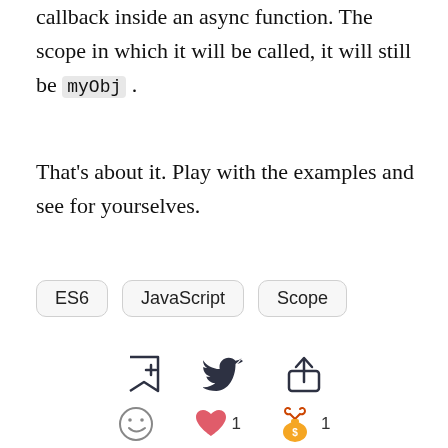Same happens if you have an arrow function as a callback inside an async function. The scope in which it will be called, it will still be myObj.
That's about it. Play with the examples and see for yourselves.
ES6
JavaScript
Scope
[Figure (infographic): Social action icons: bookmark-add, Twitter bird, share/upload icon, emoji/smiley, heart reaction with count 1, money bag reaction with count 1]